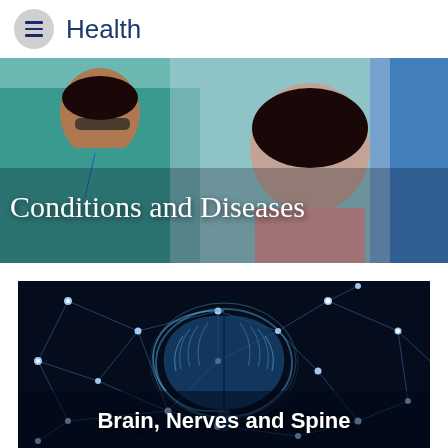Health
[Figure (photo): A healthcare professional in teal scrubs examining a young girl in a clinical setting, with blue curtain in background. White overlay text reads 'Conditions and Diseases'.]
Conditions and Diseases
[Figure (photo): A glowing blue digital brain illustration surrounded by a dark network of interconnected dots and lines. White bold overlay text reads 'Brain, Nerves and Spine'.]
Brain, Nerves and Spine